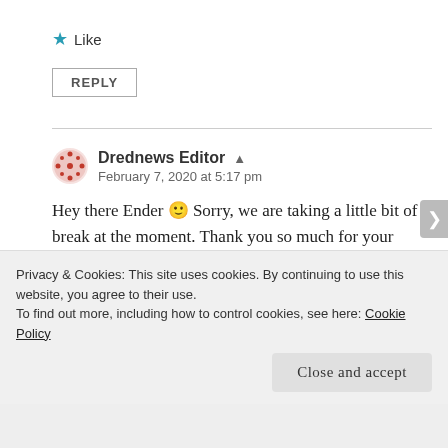★ Like
REPLY
Drednews Editor ▲
February 7, 2020 at 5:17 pm
Hey there Ender 🙂 Sorry, we are taking a little bit of a break at the moment. Thank you so much for your interest though. If we get a bit more time then it would be cool to come back to it.
Privacy & Cookies: This site uses cookies. By continuing to use this website, you agree to their use.
To find out more, including how to control cookies, see here: Cookie Policy
Close and accept